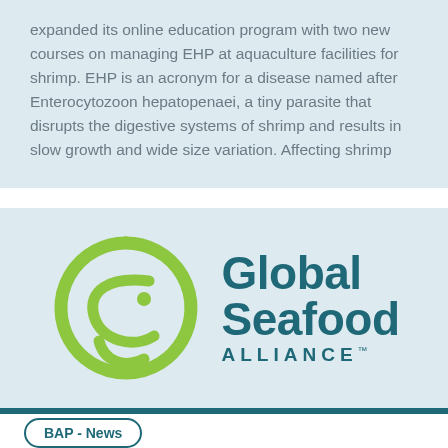expanded its online education program with two new courses on managing EHP at aquaculture facilities for shrimp. EHP is an acronym for a disease named after Enterocytozoon hepatopenaei, a tiny parasite that disrupts the digestive systems of shrimp and results in slow growth and wide size variation. Affecting shrimp
[Figure (logo): Global Seafood Alliance logo — a stylized fish eye/circle in lime green on the left, and the text 'Global Seafood ALLIANCE™' in dark teal on the right.]
BAP - News